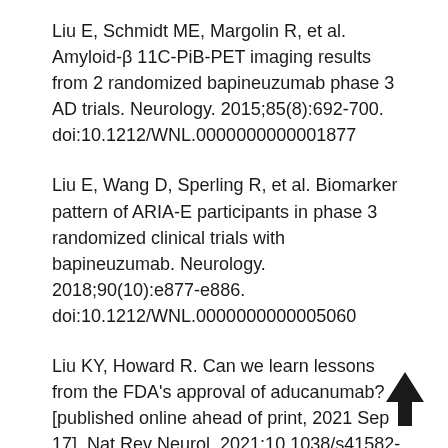Liu E, Schmidt ME, Margolin R, et al. Amyloid-β 11C-PiB-PET imaging results from 2 randomized bapineuzumab phase 3 AD trials. Neurology. 2015;85(8):692-700. doi:10.1212/WNL.0000000000001877
Liu E, Wang D, Sperling R, et al. Biomarker pattern of ARIA-E participants in phase 3 randomized clinical trials with bapineuzumab. Neurology. 2018;90(10):e877-e886. doi:10.1212/WNL.0000000000005060
Liu KY, Howard R. Can we learn lessons from the FDA's approval of aducanumab? [published online ahead of print, 2021 Sep 17]. Nat Rev Neurol. 2021;10.1038/s41582-021-00557-x. doi:10.1038/s41582-021-00557-x
[Figure (other): Upward-pointing arrow icon in bottom-right corner]